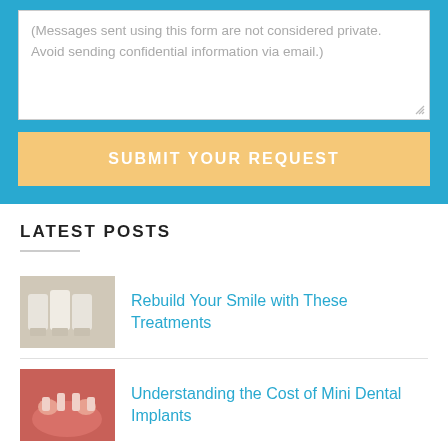(Messages sent using this form are not considered private. Avoid sending confidential information via email.)
SUBMIT YOUR REQUEST
LATEST POSTS
Rebuild Your Smile with These Treatments
Understanding the Cost of Mini Dental Implants
Importance of Dental Cleanings